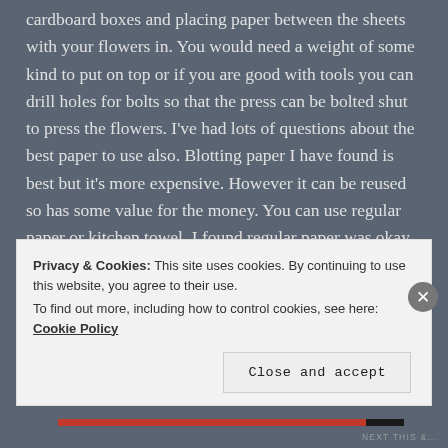cardboard boxes and placing paper between the sheets with your flowers in. You would need a weight of some kind to put on top or if you are good with tools you can drill holes for bolts so that the press can be bolted shut to press the flowers. I've had lots of questions about the best paper to use also. Blotting paper I have found is best but it's more expensive. However it can be reused so has some value for the money. You can use regular paper or kitchen towel. I found regular paper was okay but as the flowers give off moisture while being pressed the flowers tended
Privacy & Cookies: This site uses cookies. By continuing to use this website, you agree to their use.
To find out more, including how to control cookies, see here: Cookie Policy
Close and accept